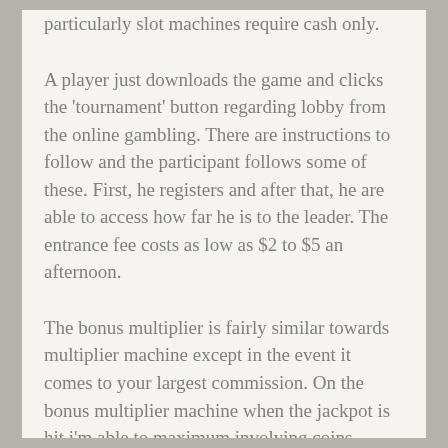particularly slot machines require cash only.
A player just downloads the game and clicks the 'tournament' button regarding lobby from the online gambling. There are instructions to follow and the participant follows some of these. First, he registers and after that, he are able to access how far he is to the leader. The entrance fee costs as low as $2 to $5 an afternoon.
The bonus multiplier is fairly similar towards multiplier machine except in the event it comes to your largest commission. On the bonus multiplier machine when the jackpot is hit i'm able to maximum involving coins played it pays a pay dirt. So, the machine may